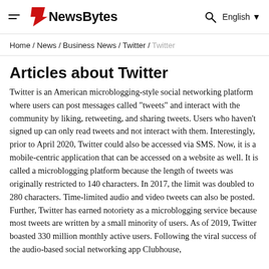NewsBytes — Home / News / Business News / Twitter / Twitter
Articles about Twitter
Twitter is an American microblogging-style social networking platform where users can post messages called "tweets" and interact with the community by liking, retweeting, and sharing tweets. Users who haven't signed up can only read tweets and not interact with them. Interestingly, prior to April 2020, Twitter could also be accessed via SMS. Now, it is a mobile-centric application that can be accessed on a website as well. It is called a microblogging platform because the length of tweets was originally restricted to 140 characters. In 2017, the limit was doubled to 280 characters. Time-limited audio and video tweets can also be posted. Further, Twitter has earned notoriety as a microblogging service because most tweets are written by a small minority of users. As of 2019, Twitter boasted 330 million monthly active users. Following the viral success of the audio-based social networking app Clubhouse,